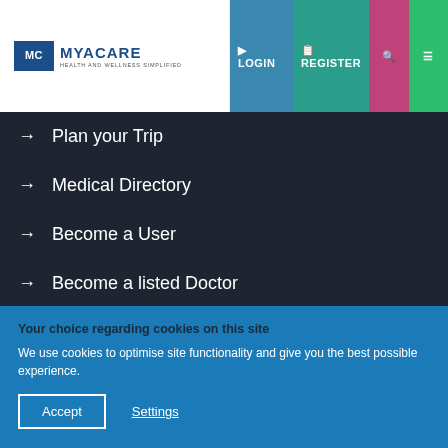[Figure (logo): MyaCare logo with MC icon and tagline 'Health and Wellness Simplified']
Plan your Trip
Medical Directory
Become a User
Become a listed Doctor
Become a listed Healthcare Provider
Legal
Your choice regarding cookies on this site
We use cookies to optimise site functionality and give you the best possible experience.
Accept
Settings